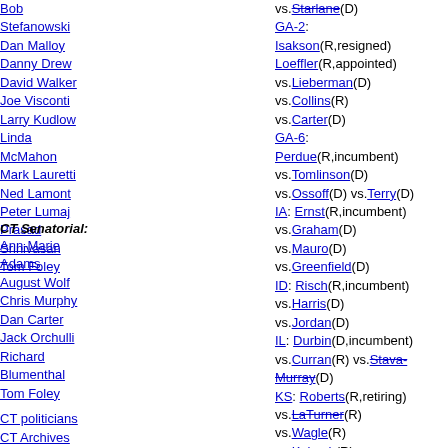Bob Stefanowski
Dan Malloy
Danny Drew
David Walker
Joe Visconti
Larry Kudlow
Linda McMahon
Mark Lauretti
Ned Lamont
Peter Lumaj
Prasad Srinivasan
Tom Foley
CT Senatorial:
Ann-Marie Adams
August Wolf
Chris Murphy
Dan Carter
Jack Orchulli
Richard Blumenthal
Tom Foley
CT politicians
CT Archives
vs.Starlane(D) GA-2: Isakson(R,resigned) Loeffler(R,appointed) vs.Lieberman(D) vs.Collins(R) vs.Carter(D) GA-6: Perdue(R,incumbent) vs.Tomlinson(D) vs.Ossoff(D) vs.Terry(D) IA: Ernst(R,incumbent) vs.Graham(D) vs.Mauro(D) vs.Greenfield(D) ID: Risch(R,incumbent) vs.Harris(D) vs.Jordan(D) IL: Durbin(D,incumbent) vs.Curran(R) vs.Stava-Murray(D) KS: Roberts(R,retiring) vs.LaTurner(R) vs.Wagle(R) vs.Kobach(R) vs.Bollier(D) vs.Lindstrom(R) vs.Grissom(D) vs.Marshall(R) KY: McConnell(R,incumbent)
vs.Cunningham(D) vs.Tucker(R) vs.Mansfield(D) NE: Sasse(R,incumbent) vs.Janicek(R) NH: Shaheen(D,incumbent) vs.Martin(D) vs.Bolduc(R) vs.O'Brien(f) NJ: Booker(D,incumbent) vs.Singh(R) vs.Meissner(R) NM: Udall(D,retiring) vs.Clarkson(R) vs.Oliver(D) vs.Lujan(D) vs.Rich(R) OK: Inhofe(R,incumbent) vs.Workman(D) OR: Merkley(D,incumbent) vs.Romero(R) RI: Reed(D,incumbent) vs.Waters(R) SC: Graham(R,incumbent) vs.Tinubu(D) vs.Harrison(D)
Corpor Crime Drugs Educa Energ Envir Famil Forei Free Govt. Gun C Healt Home Immi Jobs Princ Socia Tax R Tech War/R Welfa Other Sena (anal Bill S Affilia Policy Group